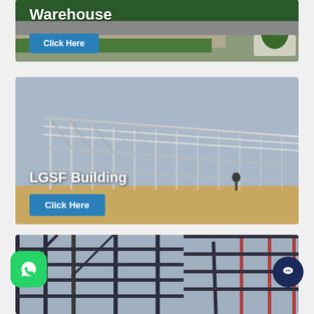[Figure (photo): Warehouse building exterior photo with green roof/wall panel and parking area, shown as card with white bold title 'Warehouse' and blue 'Click Here' button]
[Figure (photo): LGSF (Light Gauge Steel Frame) Building under construction showing steel frame skeleton structure with white frame members and soil ground, with bold white title 'LGSF Building' and blue 'Click Here' button]
[Figure (photo): Steel structure building frame under construction, showing dark steel beams/columns against grey sky, partially visible at bottom of page. Green WhatsApp button at bottom-left and dark blue chat button at bottom-right overlay.]